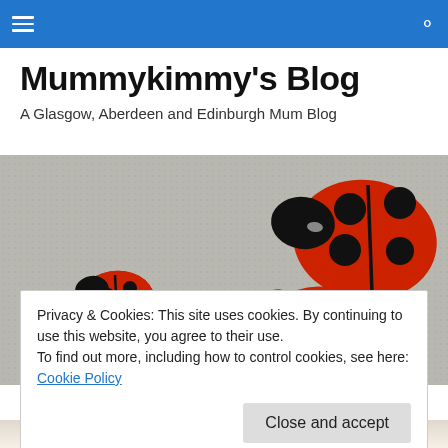Navigation bar with hamburger menu and search icon
Mummykimmy's Blog
A Glasgow, Aberdeen and Edinburgh Mum Blog
[Figure (photo): Hero banner photo showing several ladybird/ladybug figurines of different sizes on a grey carpet surface]
Privacy & Cookies: This site uses cookies. By continuing to use this website, you agree to their use.
To find out more, including how to control cookies, see here: Cookie Policy
[Figure (photo): Partial view of a document or card at the bottom of the page, showing a corner with diagonal line elements]